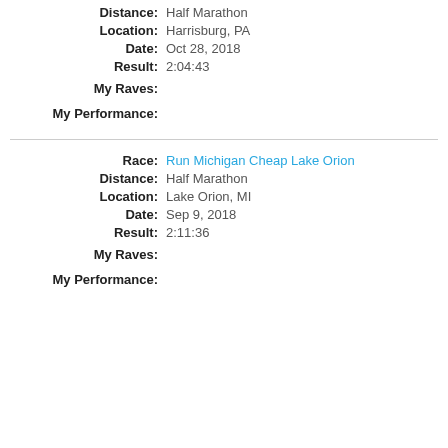Distance: Half Marathon
Location: Harrisburg, PA
Date: Oct 28, 2018
Result: 2:04:43
[Figure (illustration): My Raves: 3 blue shoes filled, 2 gray shoes unfilled]
[Figure (illustration): My Performance: 4 blue shoes filled, 1 gray shoe unfilled]
Race: Run Michigan Cheap Lake Orion
Distance: Half Marathon
Location: Lake Orion, MI
Date: Sep 9, 2018
Result: 2:11:36
[Figure (illustration): My Raves: 3 blue shoes filled, 2 gray shoes unfilled]
[Figure (illustration): My Performance: 3 blue shoes filled, 2 gray shoes unfilled]